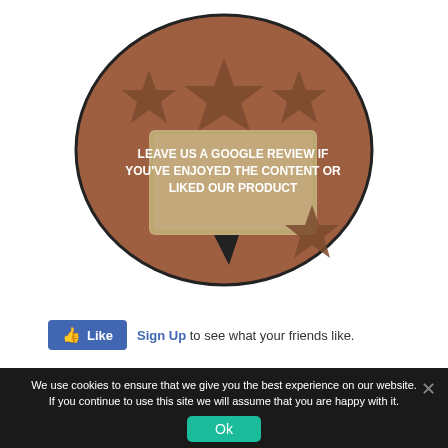[Figure (illustration): Brown oval with a speech bubble graphic containing stars and figures, with bold white text reading: LEAVE US A GOOGLE REVIEW IF YOU'VE ENJOYED THE CONTENT OR LIKED OUR PRODUCT]
Like  Sign Up to see what your friends like.
We use cookies to ensure that we give you the best experience on our website. If you continue to use this site we will assume that you are happy with it.
Ok